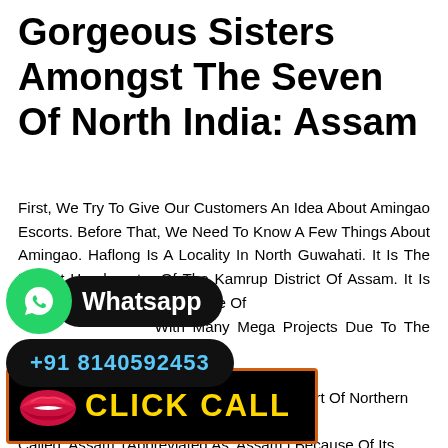Gorgeous Sisters Amongst The Seven Of North India: Assam
First, We Try To Give Our Customers An Idea About Amingao Escorts. Before That, We Need To Know A Few Things About Amingao. Haflong Is A Locality In North Guwahati. It Is The District Headquarter Of The Kamrup District Of Assam. It Is Also The Center Of The Future Of … With Many Mega Projects Due To The Widespread … Metropolitan City. Well, When … Say Assam, We First Think Of A Large Part Of Northern … ainous Terrain, The State Is Called 'Assam' (Abbreviated As 'Assam') Because Of Its … 'n' Is Not The Province As The Glorious Aham Nation Once Occupied It. This
[Figure (infographic): WhatsApp button with green icon and black rounded label reading 'Whatsapp', and black phone number button showing '+91 8140592453' in blue text]
[Figure (infographic): Black banner with orange border showing red lips icon and yellow bold text 'CLICK CALL']